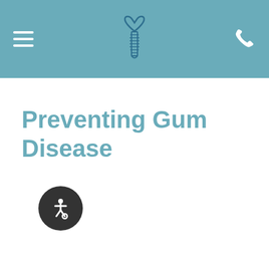[Figure (logo): Dental clinic header with hamburger menu icon on left, dental implant heart logo in center, and phone icon on right, on teal/blue background]
Preventing Gum Disease
[Figure (illustration): Accessibility wheelchair icon in white on dark circular button, bottom left corner]